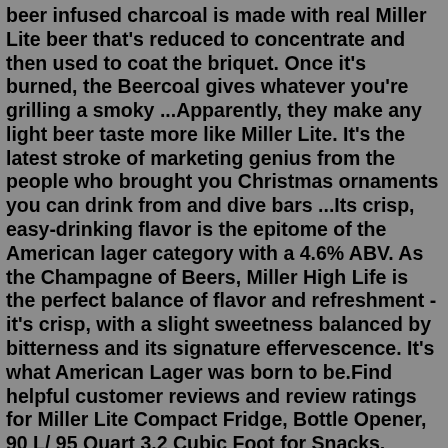beer infused charcoal is made with real Miller Lite beer that's reduced to concentrate and then used to coat the briquet. Once it's burned, the Beercoal gives whatever you're grilling a smoky ...Apparently, they make any light beer taste more like Miller Lite. It's the latest stroke of marketing genius from the people who brought you Christmas ornaments you can drink from and dive bars ...Its crisp, easy-drinking flavor is the epitome of the American lager category with a 4.6% ABV. As the Champagne of Beers, Miller High Life is the perfect balance of flavor and refreshment - it's crisp, with a slight sweetness balanced by bitterness and its signature effervescence. It's what American Lager was born to be.Find helpful customer reviews and review ratings for Miller Lite Compact Fridge, Bottle Opener, 90 L/ 95 Quart 3.2 Cubic Foot for Snacks, Frozen Meals, Beverages, Juice, Beer, Den, Dorm, Office, Games Room, or RV at Amazon.com. Read honest and unbiased product reviews from our users. Miller Lite is a Light Lager style beer brewed by Miller Brewing Co. in